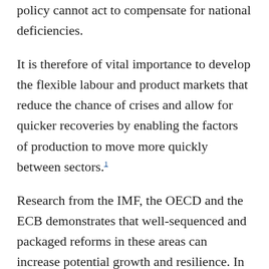policy cannot act to compensate for national deficiencies.
It is therefore of vital importance to develop the flexible labour and product markets that reduce the chance of crises and allow for quicker recoveries by enabling the factors of production to move more quickly between sectors.1
Research from the IMF, the OECD and the ECB demonstrates that well-sequenced and packaged reforms in these areas can increase potential growth and resilience. In parallel, further work to reinforce the soundness and effectiveness of domestic institutions will be critical. 2 3
On the fiscal side, it is imperative that Member States use the ongoing expansion to build up fiscal buffers